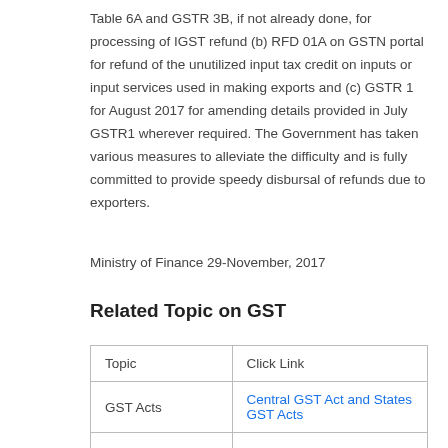Table 6A and GSTR 3B, if not already done, for processing of IGST refund (b) RFD 01A on GSTN portal for refund of the unutilized input tax credit on inputs or input services used in making exports and (c) GSTR 1 for August 2017 for amending details provided in July GSTR1 wherever required. The Government has taken various measures to alleviate the difficulty and is fully committed to provide speedy disbursal of refunds due to exporters.
Ministry of Finance 29-November, 2017
Related Topic on GST
| Topic | Click Link |
| --- | --- |
| GST Acts | Central GST Act and States GST Acts |